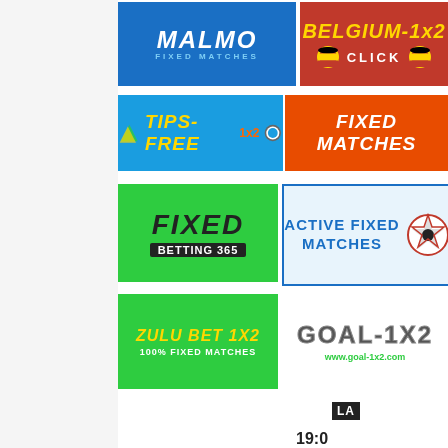[Figure (infographic): Malmo Fixed Matches banner - blue background with white italic text]
[Figure (infographic): Belgium-1x2 banner - red background with yellow text and Belgian flag]
[Figure (infographic): Tips-Free 1x2 banner - blue background with yellow text]
[Figure (infographic): Fixed Matches banner - orange/red background with white text]
[Figure (infographic): Fixed Betting 365 banner - green background with black/white text]
[Figure (infographic): Active Fixed Matches banner - white background with blue text and soccer ball]
[Figure (infographic): Zulu Bet 1x2 - 100% Fixed Matches banner - green background with yellow text]
[Figure (infographic): Goal-1x2 logo with www.goal-1x2.com URL]
LA
19:0
Tip: O
Tip
Tip: O